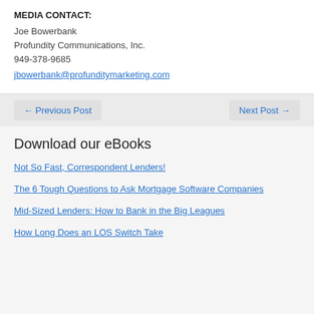MEDIA CONTACT:
Joe Bowerbank
Profundity Communications, Inc.
949-378-9685
jbowerbank@profunditymarketing.com
← Previous Post
Next Post →
Download our eBooks
Not So Fast, Correspondent Lenders!
The 6 Tough Questions to Ask Mortgage Software Companies
Mid-Sized Lenders: How to Bank in the Big Leagues
How Long Does an LOS Switch Take